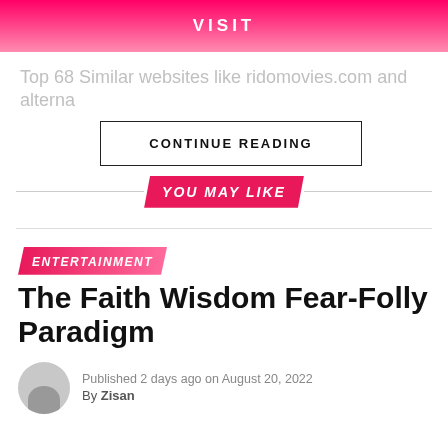VISIT
Top 68 Similar websites like ridomovies.com and alterna
CONTINUE READING
YOU MAY LIKE
ENTERTAINMENT
The Faith Wisdom Fear-Folly Paradigm
Published 2 days ago on August 20, 2022
By Zisan